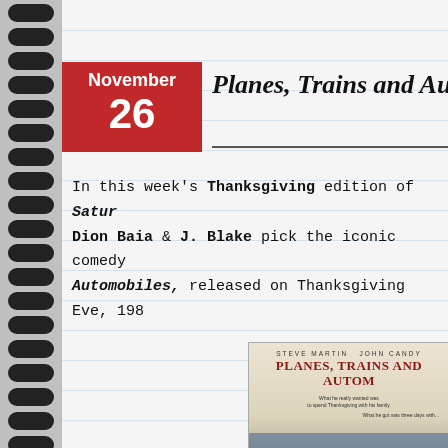Planes, Trains and Au...
In this week's Thanksgiving edition of Satur... Dion Baia & J. Blake pick the iconic comedy Automobiles, released on Thanksgiving Eve, 198...
[Figure (photo): Movie poster for Planes, Trains and Automobiles featuring Steve Martin and John Candy]